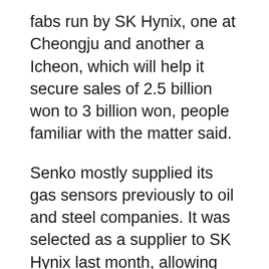fabs run by SK Hynix, one at Cheongju and another a Icheon, which will help it secure sales of 2.5 billion won to 3 billion won, people familiar with the matter said.
Senko mostly supplied its gas sensors previously to oil and steel companies. It was selected as a supplier to SK Hynix last month, allowing into expand into the semiconductor space.
Senko's sensors will be used to detect around 80 poisonous or flammable gases that forms during wafer fabrication.
The company was in talks with SK Hynix over how many sensors it will supply and unit prices, the people said.